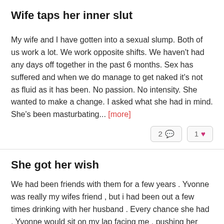Wife taps her inner slut
My wife and I have gotten into a sexual slump. Both of us work a lot. We work opposite shifts. We haven't had any days off together in the past 6 months. Sex has suffered and when we do manage to get naked it's not as fluid as it has been. No passion. No intensity. She wanted to make a change. I asked what she had in mind. She's been masturbating... [more]
She got her wish
We had been friends with them for a few years . Yvonne was really my wifes friend , but i had been out a few times drinking with her husband . Every chance she had , Yvonne would sit on my lap facing me , pushing her...